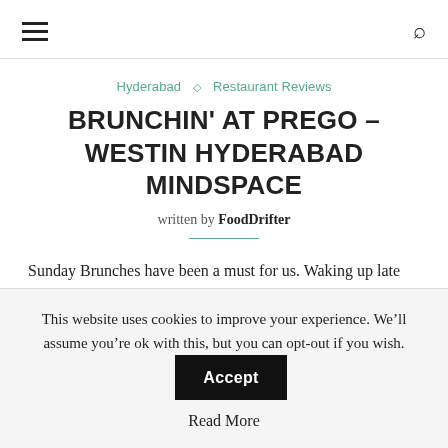☰ [hamburger menu] | 🔍 [search icon]
Hyderabad ◇ Restaurant Reviews
BRUNCHIN' AT PREGO – WESTIN HYDERABAD MINDSPACE
written by FoodDrifter
Sunday Brunches have been a must for us. Waking up late on a Sunday, brushing off the Saturday night party off you and heading on out for a perfect Brunch. That's our idea of a perfect Sunday Brunch. I've been a regular at the Sunday Brunches hosted at Prego in Westin Mindspace. It was great to know that they've now
This website uses cookies to improve your experience. We'll assume you're ok with this, but you can opt-out if you wish.
Read More